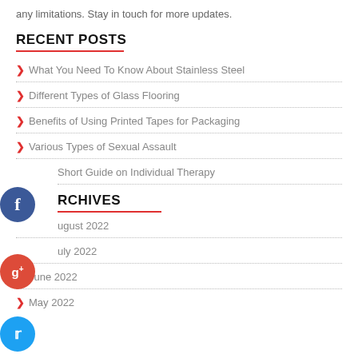any limitations. Stay in touch for more updates.
RECENT POSTS
What You Need To Know About Stainless Steel
Different Types of Glass Flooring
Benefits of Using Printed Tapes for Packaging
Various Types of Sexual Assault
Short Guide on Individual Therapy
ARCHIVES
August 2022
July 2022
June 2022
May 2022